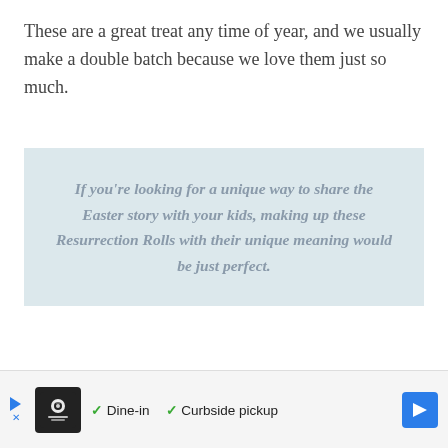These are a great treat any time of year, and we usually make a double batch because we love them just so much.
If you're looking for a unique way to share the Easter story with your kids, making up these Resurrection Rolls with their unique meaning would be just perfect.
[Figure (photo): Partial photo of a floral design, appearing to be a tattoo or decorative artwork with red and green floral motifs on a light background.]
[Figure (other): Advertisement banner showing a restaurant icon, checkmarks for Dine-in and Curbside pickup options, with a blue navigation arrow button.]